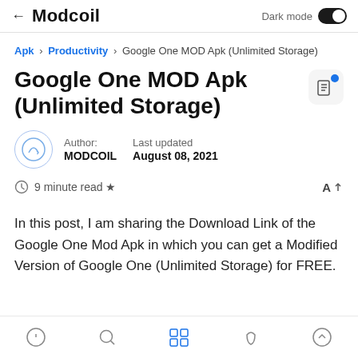← Modcoil   Dark mode
Apk › Productivity › Google One MOD Apk (Unlimited Storage)
Google One MOD Apk (Unlimited Storage)
Author: MODCOIL   Last updated August 08, 2021
9 minute read ★
In this post, I am sharing the Download Link of the Google One Mod Apk in which you can get a Modified Version of Google One (Unlimited Storage) for FREE.